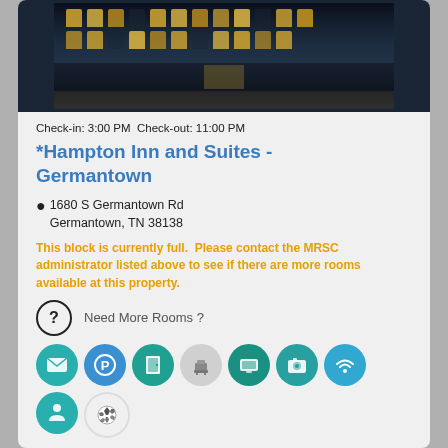[Figure (photo): Hotel building exterior photo at night with illuminated windows]
Check-in: 3:00 PM Check-out: 11:00 PM
*Hampton Inn and Suites - Germantown
1680 S Germantown Rd
Germantown, TN 38138
This block is currently full.  Please contact the MRSC administrator listed above to see if there are more rooms available at this property.
Need More Rooms ?
[Figure (infographic): Row of amenity icons: envelope, parking, door, luggage, TV, camera/radio, wifi, concierge, soccer ball]
Distance to Venue(s):